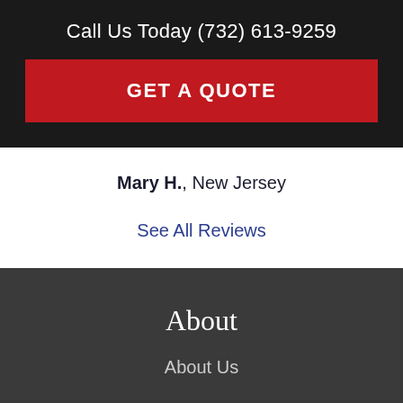Call Us Today (732) 613-9259
GET A QUOTE
Mary H., New Jersey
See All Reviews
About
About Us